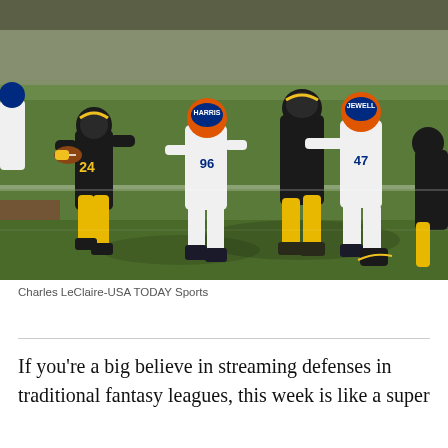[Figure (photo): NFL football action photo showing Pittsburgh Steelers player #24 in black and yellow uniform carrying ball, being pursued by Denver Broncos defenders including #96 and #47 (JEWELL) in white uniforms, on a green grass field near the end zone.]
Charles LeClaire-USA TODAY Sports
If you're a big believe in streaming defenses in traditional fantasy leagues, this week is like a super